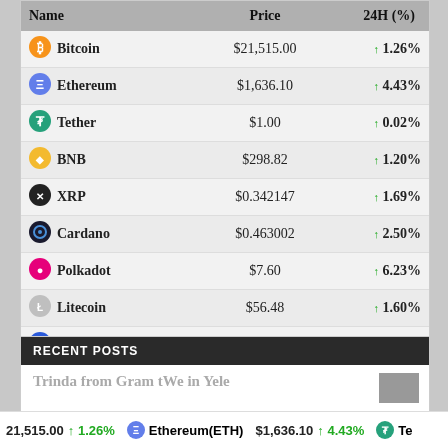| Name | Price | 24H (%) |
| --- | --- | --- |
| Bitcoin | $21,515.00 | ↑ 1.26% |
| Ethereum | $1,636.10 | ↑ 4.43% |
| Tether | $1.00 | ↑ 0.02% |
| BNB | $298.82 | ↑ 1.20% |
| XRP | $0.342147 | ↑ 1.69% |
| Cardano | $0.463002 | ↑ 2.50% |
| Polkadot | $7.60 | ↑ 6.23% |
| Litecoin | $56.48 | ↑ 1.60% |
| Chainlink | $7.17 | ↑ 5.72% |
| Bitcoin Cash | $131.35 | ↑ 11.36% |
RECENT POSTS
Ticker bar: 21,515.00 ↑ 1.26% Ethereum(ETH) $1,636.10 ↑ 4.43% Te...